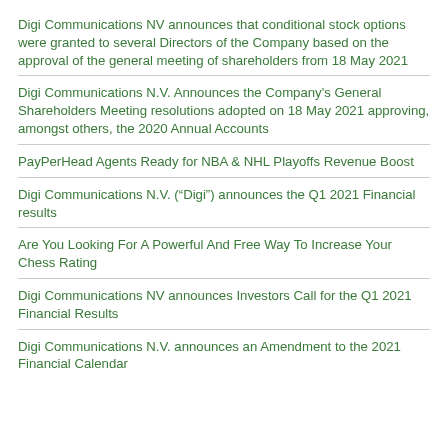Digi Communications NV announces that conditional stock options were granted to several Directors of the Company based on the approval of the general meeting of shareholders from 18 May 2021
Digi Communications N.V. Announces the Company's General Shareholders Meeting resolutions adopted on 18 May 2021 approving, amongst others, the 2020 Annual Accounts
PayPerHead Agents Ready for NBA & NHL Playoffs Revenue Boost
Digi Communications N.V. (“Digi”) announces the Q1 2021 Financial results
Are You Looking For A Powerful And Free Way To Increase Your Chess Rating
Digi Communications NV announces Investors Call for the Q1 2021 Financial Results
Digi Communications N.V. announces an Amendment to the 2021 Financial Calendar